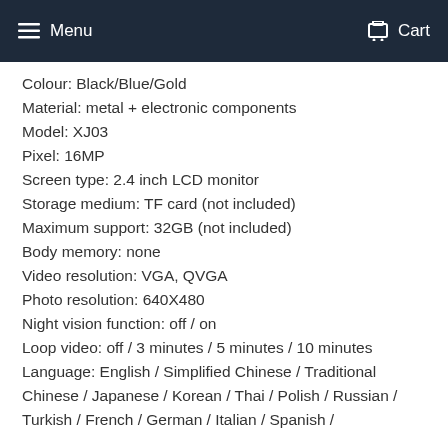Menu  Cart
Colour: Black/Blue/Gold
Material: metal + electronic components
Model: XJ03
Pixel: 16MP
Screen type: 2.4 inch LCD monitor
Storage medium: TF card (not included)
Maximum support: 32GB (not included)
Body memory: none
Video resolution: VGA, QVGA
Photo resolution: 640X480
Night vision function: off / on
Loop video: off / 3 minutes / 5 minutes / 10 minutes
Language: English / Simplified Chinese / Traditional Chinese / Japanese / Korean / Thai / Polish / Russian / Turkish / French / German / Italian / Spanish /